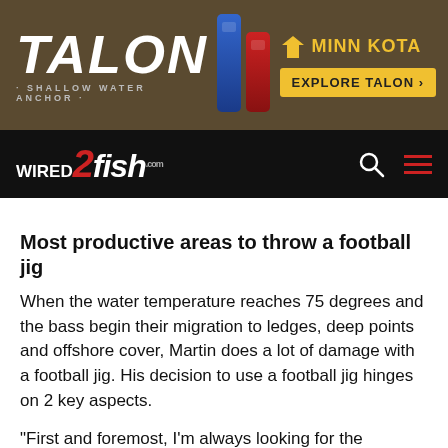[Figure (other): Talon Shallow Water Anchor advertisement banner by Minn Kota with product devices shown]
wired2fish.com
Most productive areas to throw a football jig
When the water temperature reaches 75 degrees and the bass begin their migration to ledges, deep points and offshore cover, Martin does a lot of damage with a football jig. His decision to use a football jig hinges on 2 key aspects.
“First and foremost, I’m always looking for the presence of bait when I’m throwing a football jig in deep water,” Martin said. “I don’t waste any time fishing areas void of bait. Secondly, but equally important, I’m searching for areas